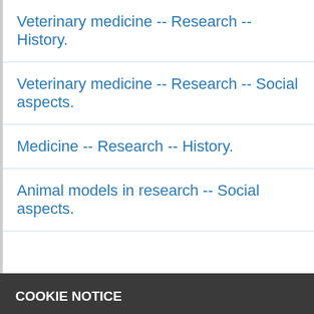Veterinary medicine -- Research -- History.
Veterinary medicine -- Research -- Social aspects.
Medicine -- Research -- History.
Animal models in research -- Social aspects.
COOKIE NOTICE
We use cookies on this site to enhance your experience and improve our library services. By continuing to browse without changing your browser settings to block or delete cookies, you agree to the storing of cookies and related technologies on your device. UW–Madison Privacy Notice
VetCASH: career reflections of vet...
GOT IT!